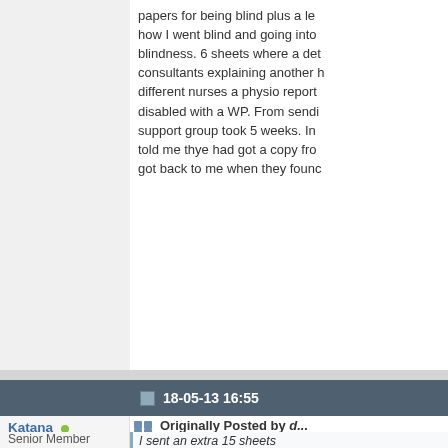papers for being blind plus a le how I went blind and going into blindness. 6 sheets where a de consultants explaining another different nurses a physio report disabled with a WP. From send support group took 5 weeks. In told me thye had got a copy fro got back to me when they foun
18-05-13 16:55
Katana (online)
Senior Member
Join Date: Apr 2013
Posts: 140
Originally Posted by d...
I sent an extra 15 sheets I was put into the Suppo a medical. I asked them 😎 but they said three is into too much detail 4 sh papers for being blind p consultant explaining ho the problems that cause where a detailed letter fr explaining another healt different nurses a physio why I am 60% disabled u ESA50 off to getting in s